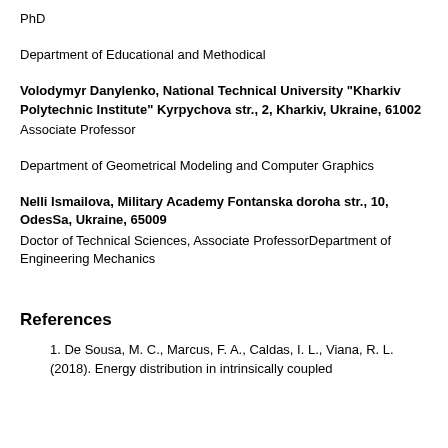PhD
Department of Educational and Methodical
Volodymyr Danylenko, National Technical University "Kharkiv Polytechnic Institute" Kyrpychova str., 2, Kharkiv, Ukraine, 61002
Associate Professor
Department of Geometrical Modeling and Computer Graphics
Nelli Ismailova, Military Academy Fontanska doroha str., 10, OdesSa, Ukraine, 65009
Doctor of Technical Sciences, Associate ProfessorDepartment of Engineering Mechanics
References
De Sousa, M. C., Marcus, F. A., Caldas, I. L., Viana, R. L. (2018). Energy distribution in intrinsically coupled